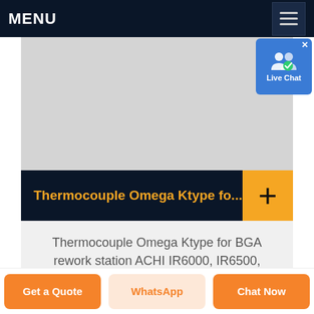MENU
[Figure (screenshot): Live Chat widget with user icon and blue background]
[Figure (photo): Product image area (gray placeholder) for Thermocouple Omega Ktype]
Thermocouple Omega Ktype fo...
Thermocouple Omega Ktype for BGA rework station ACHI IR6000, IR6500, IR9000, 30cm
Get a Quote
WhatsApp
Chat Now